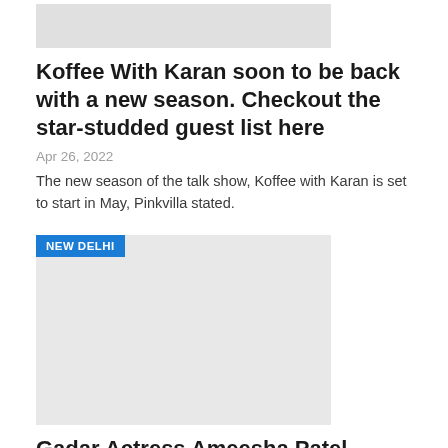[Figure (photo): Partial image placeholder at top of first article]
Koffee With Karan soon to be back with a new season. Checkout the star-studded guest list here
Apr 26, 2022
The new season of the talk show, Koffee with Karan is set to start in May, Pinkvilla stated.
[Figure (photo): Image placeholder with NEW DELHI tag badge for second article]
Gadar Actress Ameesha Patel Launched the New Branch of Sandhya's Makeovers
Apr 17, 2022
Recently, actress Ameesha Patel who has been in limelight for the upcoming Bollywood sequel of Gadar arrived in Delhi. She launched